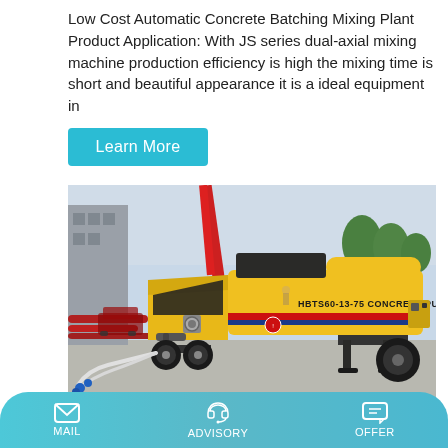Low Cost Automatic Concrete Batching Mixing Plant Product Application: With JS series dual-axial mixing machine production efficiency is high the mixing time is short and beautiful appearance it is a ideal equipment in
Learn More
[Figure (photo): Yellow HBTS60-13-75 concrete pump machine on a flatbed trailer, parked at a construction site with red pipes and trees in the background.]
MAIL   ADVISORY   OFFER